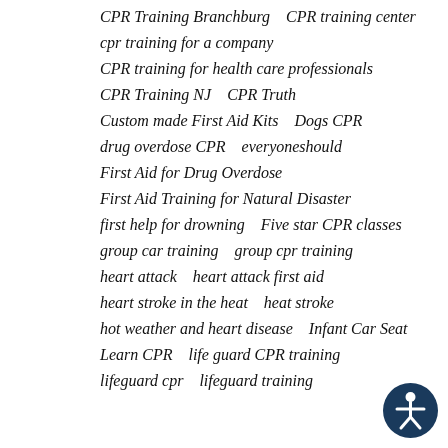CPR Training Branchburg   CPR training center
cpr training for a company
CPR training for health care professionals
CPR Training NJ   CPR Truth
Custom made First Aid Kits   Dogs CPR
drug overdose CPR   everyoneshould
First Aid for Drug Overdose
First Aid Training for Natural Disaster
first help for drowning   Five star CPR classes
group car training   group cpr training
heart attack   heart attack first aid
heart stroke in the heat   heat stroke
hot weather and heart disease   Infant Car Seat
Learn CPR   life guard CPR training
lifeguard cpr   lifeguard training
[Figure (illustration): Accessibility icon: dark blue circle with white human figure in universal accessibility pose]